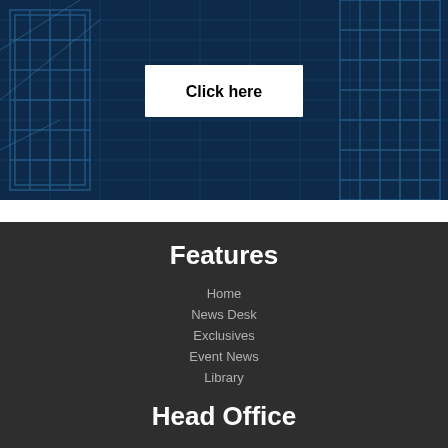[Figure (screenshot): Dark navy blue background with architectural/building blueprint lines and a white 'Click here' button centered on the image]
Features
Home
News Desk
Exclusives
Event News
Library
Head Office